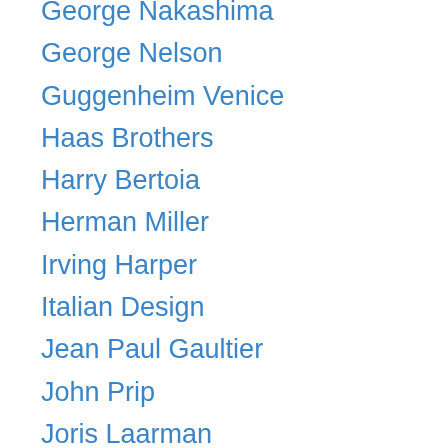George Nakashima
George Nelson
Guggenheim Venice
Haas Brothers
Harry Bertoia
Herman Miller
Irving Harper
Italian Design
Jean Paul Gaultier
John Prip
Joris Laarman
Line Vautrin
Lucio Fontana
Magazine Article
Manitoga